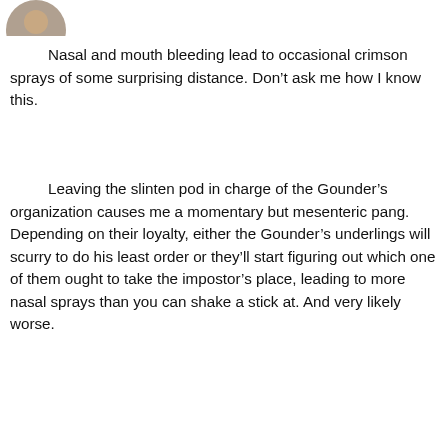[Figure (photo): Partial circular avatar photo of a person at top left]
Nasal and mouth bleeding lead to occasional crimson sprays of some surprising distance. Don’t ask me how I know this.
Leaving the slinten pod in charge of the Gounder’s organization causes me a momentary but mesenteric pang. Depending on their loyalty, either the Gounder’s underlings will scurry to do his least order or they’ll start figuring out which one of them ought to take the impostor’s place, leading to more nasal sprays than you can shake a stick at. And very likely worse.
Reply
[Figure (illustration): Gray circular avatar icon with a person silhouette]
Night-Gaunt49  August 6, 2018 at 11:46 pm